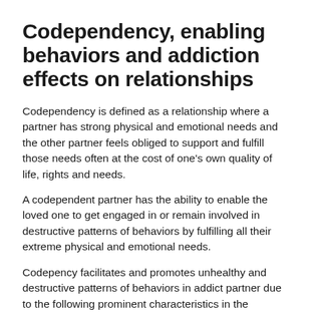Codependency, enabling behaviors and addiction effects on relationships
Codependency is defined as a relationship where a partner has strong physical and emotional needs and the other partner feels obliged to support and fulfill those needs often at the cost of one's own quality of life, rights and needs.
A codependent partner has the ability to enable the loved one to get engaged in or remain involved in destructive patterns of behaviors by fulfilling all their extreme physical and emotional needs.
Codepency facilitates and promotes unhealthy and destructive patterns of behaviors in addict partner due to the following prominent characteristics in the codependent partner:
A low sense of self worth outside the